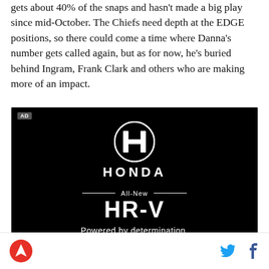gets about 40% of the snaps and hasn't made a big play since mid-October. The Chiefs need depth at the EDGE positions, so there could come a time where Danna's number gets called again, but as for now, he's buried behind Ingram, Frank Clark and others who are making more of an impact.
[Figure (other): Honda advertisement banner with Honda logo (H emblem), wordmark 'HONDA', tagline lines reading 'All-New', 'HR-V', and 'Powered by determination.' on a black background. AD label in top left corner.]
Site logo (rocket icon), Twitter bird icon, Facebook f icon